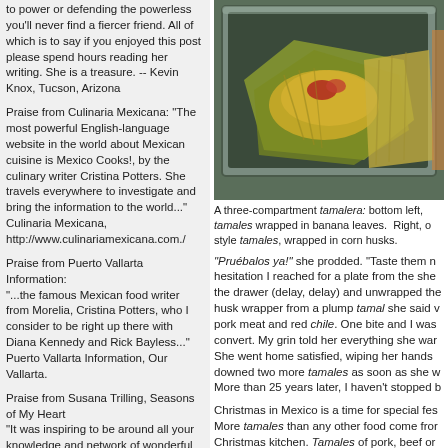to power or defending the powerless you'll never find a fiercer friend. All of which is to say if you enjoyed this post please spend hours reading her writing. She is a treasure. -- Kevin Knox, Tucson, Arizona
Praise from Culinaria Mexicana: "The most powerful English-language website in the world about Mexican cuisine is Mexico Cooks!, by the culinary writer Cristina Potters. She travels everywhere to investigate and bring the information to the world..." Culinaria Mexicana, http://www.culinariamexicana.com./
Praise from Puerto Vallarta Information: "...the famous Mexican food writer from Morelia, Cristina Potters, who I consider to be right up there with Diana Kennedy and Rick Bayless..." Puerto Vallarta Information, Our Vallarta.
Praise from Susana Trilling, Seasons of My Heart "It was inspiring to be around all your knowledge and network of wonderful people that you got together to show us the magic of Michoacán! I can see why you love it so much. Not only is it physically beautiful but the spirit of the people is engaging and
[Figure (photo): A three-compartment tamalera with tamales wrapped in banana leaves and corn husks]
A three-compartment tamalera: bottom left, tamales wrapped in banana leaves. Right, o style tamales, wrapped in corn husks.
"Pruébalos ya!" she prodded. "Taste them n hesitation I reached for a plate from the she the drawer (delay, delay) and unwrapped the husk wrapper from a plump tamal she said v pork meat and red chile. One bite and I was convert. My grin told her everything she war She went home satisfied, wiping her hands downed two more tamales as soon as she w More than 25 years later, I haven't stopped b
Christmas in Mexico is a time for special fes More tamales than any other food come fror Christmas kitchen. Tamales of pork, beef or spicy red chile, tamales of rajas con queso ( roasted poblano chiles with cheese), and sw ones, each with a single raisin pressed into (dough), pour in a steady, steaming mounta after kitchen.